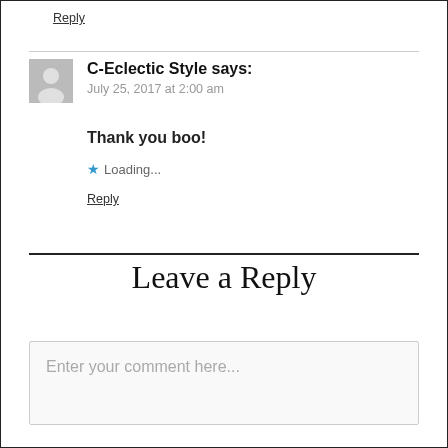Reply
C-Eclectic Style says: July 25, 2017 at 2:00 am
Thank you boo!
Loading...
Reply
Leave a Reply
Enter your comment here...